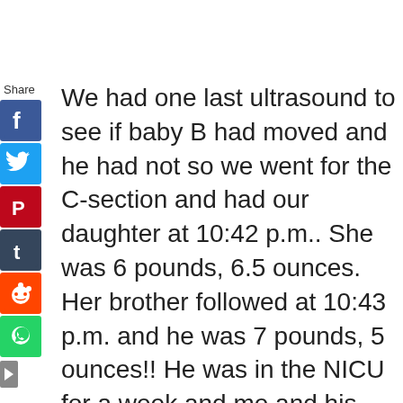[Figure (infographic): Social media share sidebar with icons for Facebook, Twitter, Pinterest, Tumblr, Reddit, WhatsApp, and a collapse arrow. Label 'Share' at top.]
We had one last ultrasound to see if baby B had moved and he had not so we went for the C-section and had our daughter at 10:42 p.m.. She was 6 pounds, 6.5 ounces. Her brother followed at 10:43 p.m. and he was 7 pounds, 5 ounces!! He was in the NICU for a week and me and his twin sister came to see him and my husband everyday while they were in the NICU. He was having issues breathing and eating but is all better now and is a huge 20 pounds at 6 months old and his sister is a little miss at 17 pounds!
I guess we got what we were asking for just all at once :) They are such great babies and have